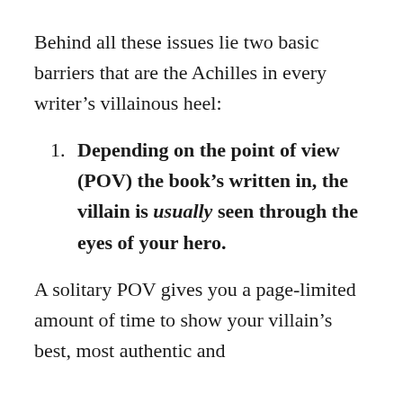Behind all these issues lie two basic barriers that are the Achilles in every writer’s villainous heel:
Depending on the point of view (POV) the book’s written in, the villain is usually seen through the eyes of your hero.
A solitary POV gives you a page-limited amount of time to show your villain’s best, most authentic and